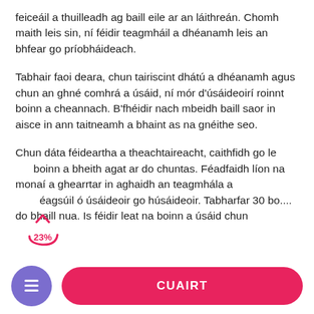feiceáil a thuilleadh ag baill eile ar an láithreán. Chomh maith leis sin, ní féidir teagmháil a dhéanamh leis an bhfear go príobháideach.
Tabhair faoi deara, chun tairiscint dhátú a dhéanamh agus chun an ghné comhrá a úsáid, ní mór d'úsáideoirí roinnt boinn a cheannach. B'fhéidir nach mbeidh baill saor in aisce in ann taitneamh a bhaint as na gnéithe seo.
Chun dáta féideartha a theachtaireacht, caithfidh go le  boinn a bheith agat ar do chuntas. Féadfaidh líon na monaí a ghearrtar in aghaidh an teagmhála a  éagsúil ó úsáideoir go húsáideoir. Tabharfar 30 bo... do bhaill nua. Is féidir leat na boinn a úsáid chun